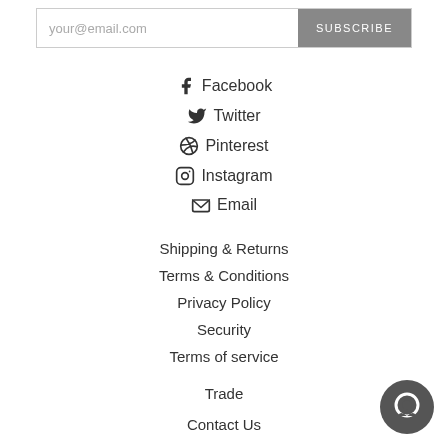your@email.com
SUBSCRIBE
Facebook
Twitter
Pinterest
Instagram
Email
Shipping & Returns
Terms & Conditions
Privacy Policy
Security
Terms of service
Trade
Contact Us
[Figure (other): Chat bubble icon in dark gray circle]